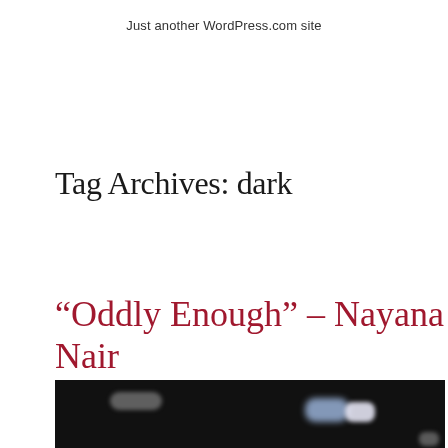Just another WordPress.com site
Tag Archives: dark
“Oddly Enough” – Nayana Nair
[Figure (photo): Dark nighttime photograph with blurred lights, showing what appears to be a street or vehicle scene at night with motion blur effects]